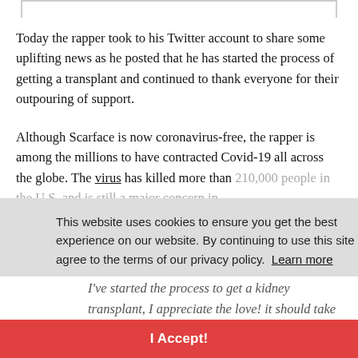Today the rapper took to his Twitter account to share some uplifting news as he posted that he has started the process of getting a transplant and continued to thank everyone for their outpouring of support.
Although Scarface is now coronavirus-free, the rapper is among the millions to have contracted Covid-19 all across the globe. The virus has killed more than 210,000 people in the U.S. and is still a major concern in
This website uses cookies to ensure you get the best experience on our website. By continuing to use this site you agree to the terms of our privacy policy.  Learn more
I've started the process to get a kidney transplant, I appreciate the love! it should take me 2-3 months to see if I'm a good candidate, in
I Accept!